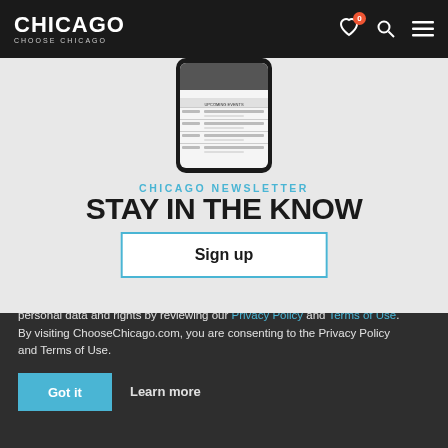CHICAGO CHOOSE CHICAGO
[Figure (screenshot): Mobile phone screenshot showing Choose Chicago app with upcoming events list]
CHICAGO NEWSLETTER
STAY IN THE KNOW
Sign up
This website uses cookies to ensure the best experience, which you consent to by clicking ‘Got It.’ Learn more about how we handle your personal data and rights by reviewing our Privacy Policy and Terms of Use. By visiting ChooseChicago.com, you are consenting to the Privacy Policy and Terms of Use.
Got it  Learn more